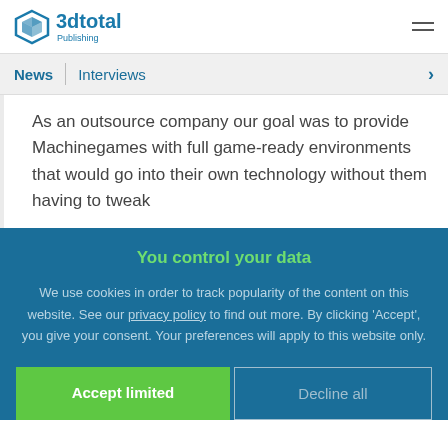3dtotal Publishing — navigation header with logo and hamburger menu
News | Interviews
As an outsource company our goal was to provide Machinegames with full game-ready environments that would go into their own technology without them having to tweak
You control your data
We use cookies in order to track popularity of the content on this website. See our privacy policy to find out more. By clicking 'Accept', you give your consent. Your preferences will apply to this website only.
Accept limited | Decline all